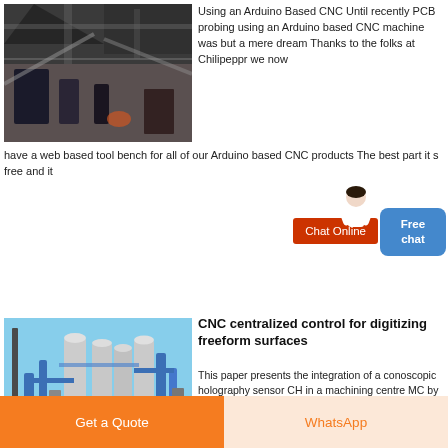[Figure (photo): Industrial facility interior with large machinery and equipment, dark warehouse setting]
Using an Arduino Based CNC Until recently PCB probing using an Arduino based CNC machine was but a mere dream Thanks to the folks at Chilipeppr we now have a web based tool bench for all of our Arduino based CNC products The best part it s free and it
[Figure (photo): Outdoor industrial plant with large silver/blue cylindrical tanks and blue pipes against a blue sky]
CNC centralized control for digitizing freeform surfaces
This paper presents the integration of a conoscopic holography sensor CH in a machining centre MC by means of a centralized
[Figure (other): Chat Online button (red) and Free chat button (blue)]
Get a Quote
WhatsApp